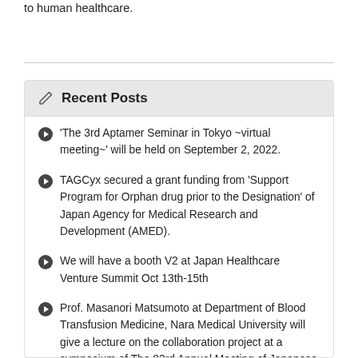to human healthcare.
Recent Posts
'The 3rd Aptamer Seminar in Tokyo ~virtual meeting~' will be held on September 2, 2022.
TAGCyx secured a grant funding from 'Support Program for Orphan drug prior to the Designation' of Japan Agency for Medical Research and Development (AMED).
We will have a booth V2 at Japan Healthcare Venture Summit Oct 13th-15th
Prof. Masanori Matsumoto at Department of Blood Transfusion Medicine, Nara Medical University will give a lecture on the collaboration project at a symposium of The 83rd Annual Meeting of Japanese Society of Hematology (JSH) (September 23-25, virtual).